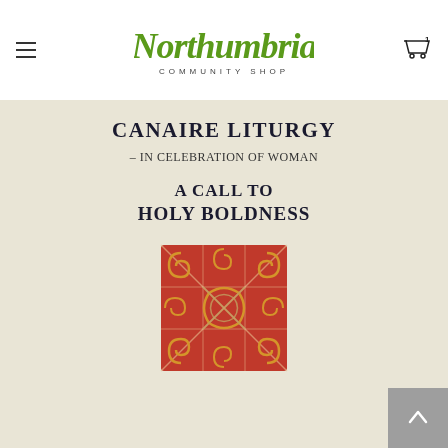Northumbria Community Shop — navigation header with hamburger menu and cart icon
[Figure (logo): Northumbria Community Shop logo — stylized green handwritten script reading 'Northumbria' above 'COMMUNITY SHOP' in small caps]
[Figure (photo): Book cover for 'The Canaire Liturgy – In Celebration of Woman: A Call to Holy Boldness' showing the title text and a Celtic knotwork square ornament in red and orange tones on a cream/off-white background]